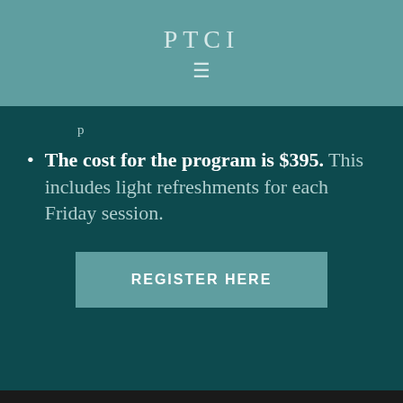PTCI
The cost for the program is $395. This includes light refreshments for each Friday session.
REGISTER HERE